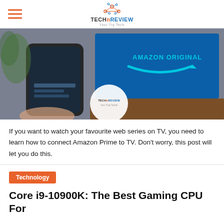TechReview
[Figure (photo): A hand holding a smartphone with a dark screen showing media controls, with a TV in the background displaying 'Amazon Original' logo on a blue screen. A TechReview watermark logo is visible on the image.]
If you want to watch your favourite web series on TV, you need to learn how to connect Amazon Prime to TV. Don't worry, this post will let you do this.
Technology
Core i9-10900K: The Best Gaming CPU For